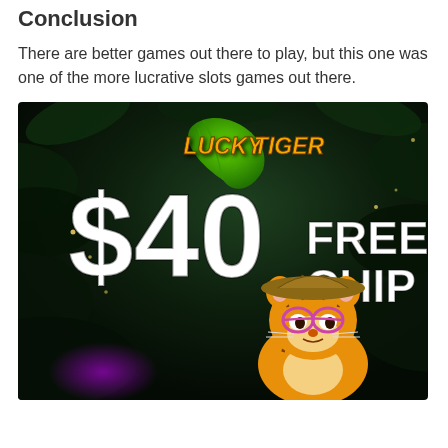Conclusion
There are better games out there to play, but this one was one of the more lucrative slots games out there.
[Figure (illustration): Lucky Tiger Casino advertisement showing a $40 Free Chip promotional banner with a cartoon tiger character wearing glasses in a jungle background setting.]